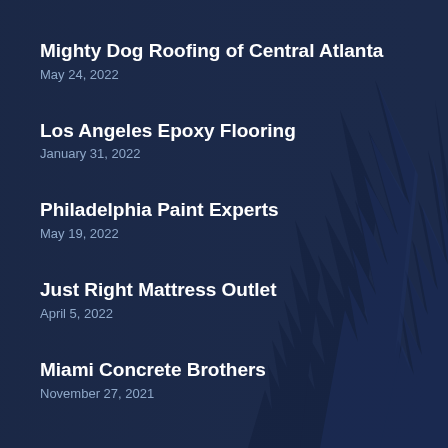Mighty Dog Roofing of Central Atlanta
May 24, 2022
Los Angeles Epoxy Flooring
January 31, 2022
Philadelphia Paint Experts
May 19, 2022
Just Right Mattress Outlet
April 5, 2022
Miami Concrete Brothers
November 27, 2021